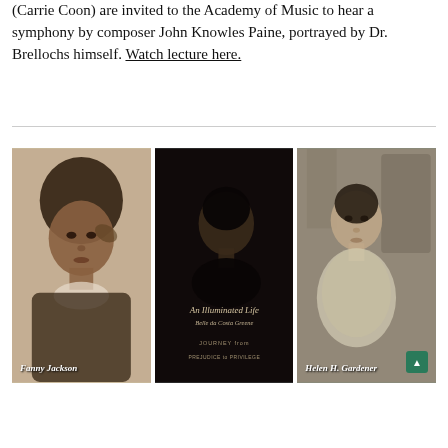(Carrie Coon) are invited to the Academy of Music to hear a symphony by composer John Knowles Paine, portrayed by Dr. Brellochs himself. Watch lecture here.
[Figure (photo): Three book/portrait images side by side: (1) Fanny Jackson - sepia portrait of a woman with hair ribbon; (2) An Illuminated Life by Belle da Costa Greene, Journey from Prejudice to Privilege - dark book cover with woman's profile; (3) Helen H. Gardener - black and white portrait of a woman seated]